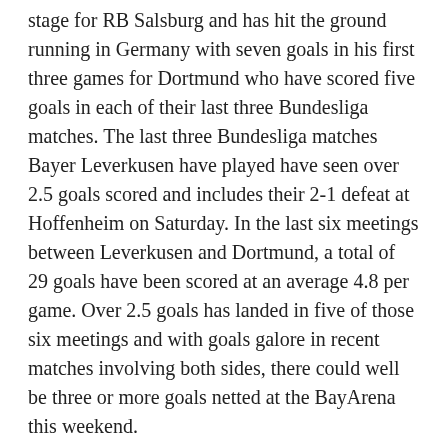stage for RB Salsburg and has hit the ground running in Germany with seven goals in his first three games for Dortmund who have scored five goals in each of their last three Bundesliga matches. The last three Bundesliga matches Bayer Leverkusen have played have seen over 2.5 goals scored and includes their 2-1 defeat at Hoffenheim on Saturday. In the last six meetings between Leverkusen and Dortmund, a total of 29 goals have been scored at an average 4.8 per game. Over 2.5 goals has landed in five of those six meetings and with goals galore in recent matches involving both sides, there could well be three or more goals netted at the BayArena this weekend.
Verona v Juventus (Over 2.5 goals)
When Juventus beat Verona 2-1 on September 21, they had to come from behind to claim all three points at the Juventus Stadium. Miguel Veloso gave Verona the lead before Aaron Ramsey scored his first goal since joining the Old Lady from Arsenal in the summer. A Cristiano Ronaldo penalty four minutes into the second half secured victory for Juventus, who opened a three-point lead at the top of Serie A after they beat Fiorentina 3-0 in Turin on Sunday. Ronaldo scored twice from